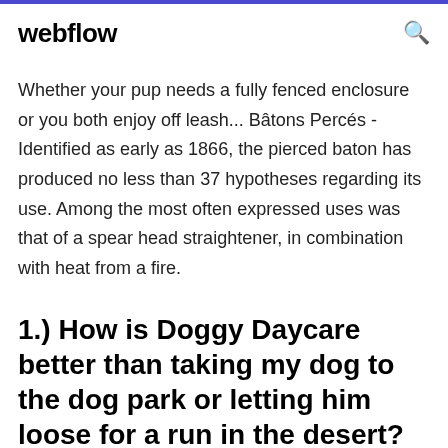webflow
Whether your pup needs a fully fenced enclosure or you both enjoy off leash... Bâtons Percés - Identified as early as 1866, the pierced baton has produced no less than 37 hypotheses regarding its use. Among the most often expressed uses was that of a spear head straightener, in combination with heat from a fire.
1.) How is Doggy Daycare better than taking my dog to the dog park or letting him loose for a run in the desert?